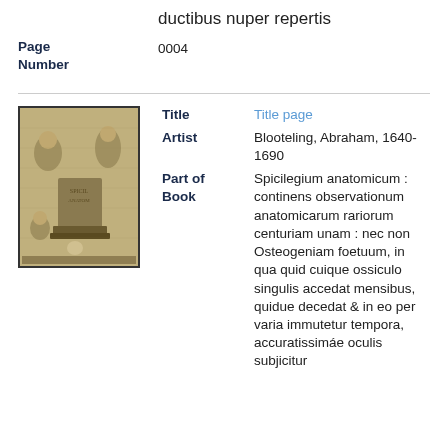nonnulla de lymphis ductibus nuper repertis
Page Number   0004
[Figure (illustration): Engraved title page illustration showing allegorical figures around a pedestal, from an anatomical book]
Title   Title page
Artist   Blooteling, Abraham, 1640-1690
Part of Book   Spicilegium anatomicum : continens observationum anatomicarum rariorum centuriam unam : nec non Osteogeniam foetuum, in qua quid cuique ossiculo singulis accedat mensibus, quidue decedat & in eo per varia immutetur tempora, accuratissimáe oculis subjicitur